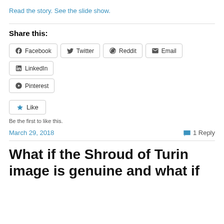Read the story. See the slide show.
Share this:
Facebook  Twitter  Reddit  Email  LinkedIn  Pinterest
Like
Be the first to like this.
March 29, 2018
1 Reply
What if the Shroud of Turin image is genuine and what if